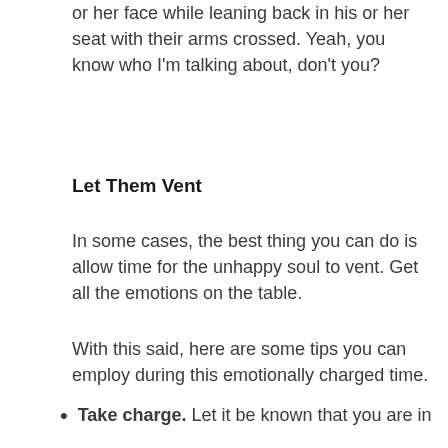or her face while leaning back in his or her seat with their arms crossed.  Yeah, you know who I'm talking about, don't you?
Let Them Vent
In some cases, the best thing you can do is allow time for the unhappy soul to vent. Get all the emotions on the table.
With this said, here are some tips you can employ during this emotionally charged time.
Take charge. Let it be known that you are in control of the scene and that there will order